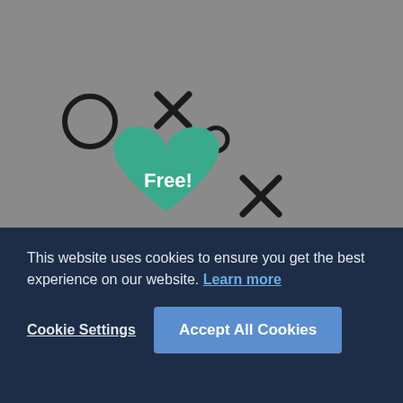[Figure (illustration): A teal/green heart icon with 'Free!' text inside it, surrounded by decorative X marks and circle shapes in black, on a gray background.]
It's free!
Get access to our PostgreSQL freelancers and PostgreSQL experts. Just post a PostgreSQL ...
This website uses cookies to ensure you get the best experience on our website. Learn more
Cookie Settings
Accept All Cookies